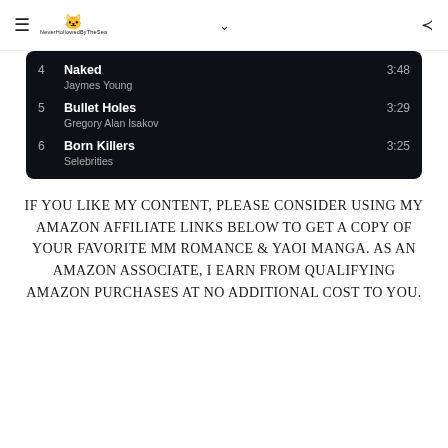≡ [logo: NeverHollowedByTheSea] ∨ ⋮
| # | Title / Artist | Duration |
| --- | --- | --- |
| 4 | Naked
Jaymes Young | 3:48 |
| 5 | Bullet Holes
Gregory Alan Isakov | 3:29 |
| 6 | Born Killers
Selebrities | 3:25 |
IF YOU LIKE MY CONTENT, PLEASE CONSIDER USING MY AMAZON AFFILIATE LINKS BELOW TO GET A COPY OF YOUR FAVORITE MM ROMANCE & YAOI MANGA. AS AN AMAZON ASSOCIATE, I EARN FROM QUALIFYING AMAZON PURCHASES AT NO ADDITIONAL COST TO YOU.